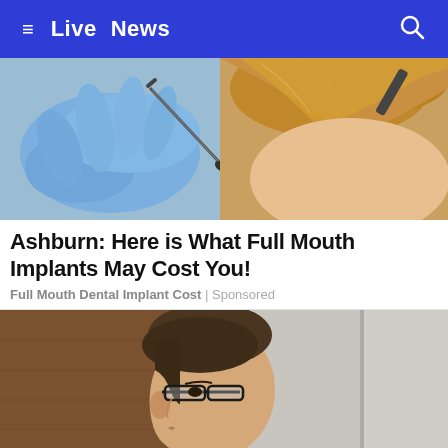≡  Live  News  🔍
[Figure (photo): Close-up of a dental professional wearing blue latex gloves using a dental tool near a patient's mouth]
Ashburn: Here is What Full Mouth Implants May Cost You!
Full Mouth Dental Implant Cost | Sponsored
[Figure (photo): Young man with dark hair and glasses in profile view, wearing a dark suit, appearing to be in a courtroom setting with wood paneling in the background]